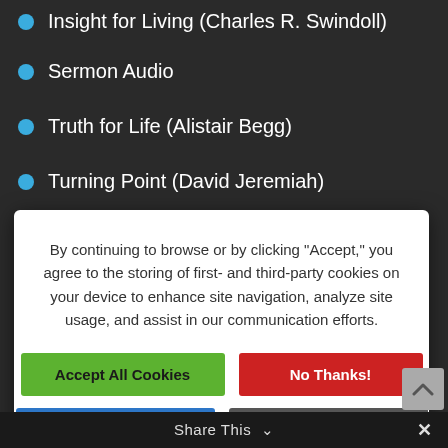Insight for Living (Charles R. Swindoll)
Sermon Audio
Truth for Life (Alistair Begg)
Turning Point (David Jeremiah)
By continuing to browse or by clicking "Accept," you agree to the storing of first- and third-party cookies on your device to enhance site navigation, analyze site usage, and assist in our communication efforts.
Accept All Cookies | No Thanks! | Cookie Settings | Privacy Policy
https://bethanydumfries.org
Please be assured that we will treat the information you provide us with in the strictest confidence.
Share This